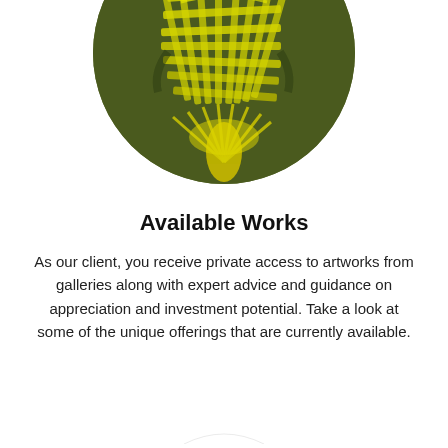[Figure (illustration): A circular cropped painting showing a yellow/green abstract plant or feather-like form with grid-patterned strokes on an olive green background.]
Available Works
As our client, you receive private access to artworks from galleries along with expert advice and guidance on appreciation and investment potential. Take a look at some of the unique offerings that are currently available.